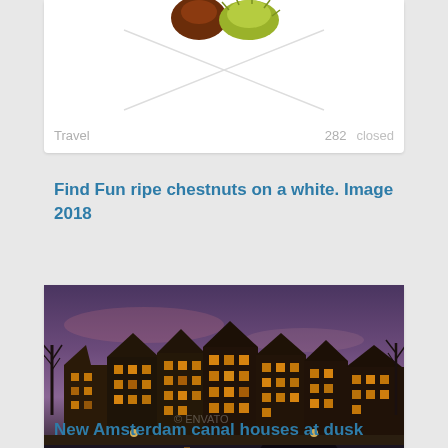[Figure (photo): Partial view of a card showing ripe chestnuts on white background with X placeholder lines]
Travel   282   closed
Find Fun ripe chestnuts on a white. Image 2018
[Figure (photo): Amsterdam canal houses at dusk with golden reflections on water and purple evening sky]
Travel   400   closed
New Amsterdam canal houses at dusk